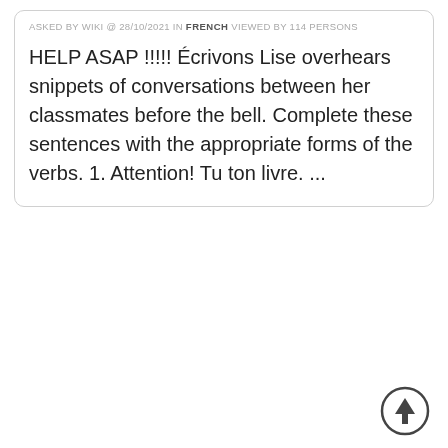ASKED BY WIKI @ 28/10/2021 IN FRENCH VIEWED BY 114 PERSONS
HELP ASAP !!!!! Écrivons Lise overhears snippets of conversations between her classmates before the bell. Complete these sentences with the appropriate forms of the verbs. 1. Attention! Tu ton livre. ...
[Figure (illustration): Upward arrow icon inside a circle, positioned at bottom-right corner of the page]